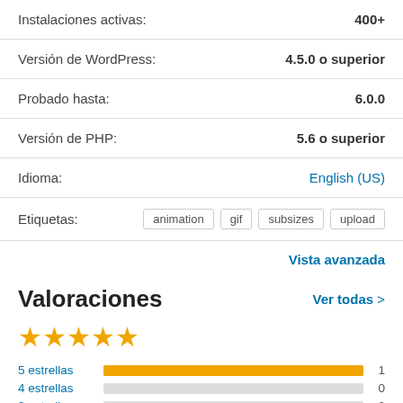Instalaciones activas: 400+
Versión de WordPress: 4.5.0 o superior
Probado hasta: 6.0.0
Versión de PHP: 5.6 o superior
Idioma: English (US)
Etiquetas: animation gif subsizes upload
Vista avanzada
Valoraciones
Ver todas >
[Figure (other): 4 gold stars rating]
5 estrellas 1
4 estrellas 0
3 estrellas 0
2 estrellas 0